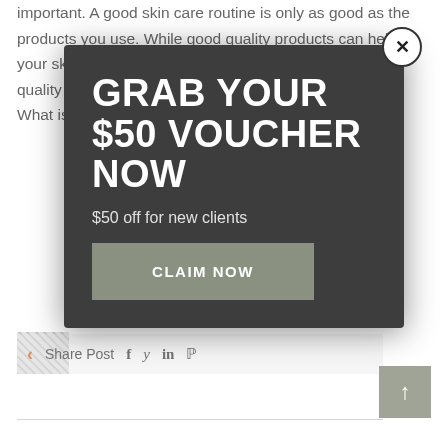important. A good skin care routine is only as good as the products you use. While good quality products can help your skin look better now as well as in the future, poor quality products can harm. In amazing products organic What is
[Figure (infographic): Modal popup overlay with dark background. Large bold white text 'GRAB YOUR $50 VOUCHER NOW', subtitle '$50 off for new clients', and a 'CLAIM NOW' button. Close button (X) in top-right corner.]
Share Post